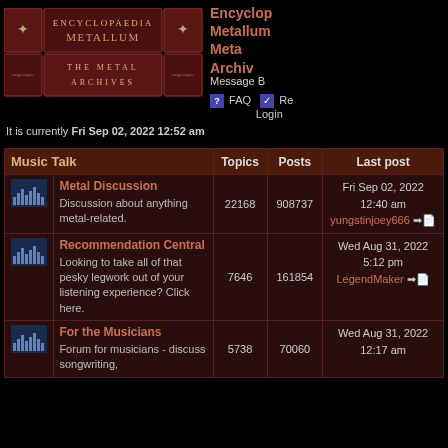[Figure (logo): Encyclopaedia Metallum - The Metal Archives banner/logo with dark red ornate book-style design]
Encyclopaedia Metallum: The Metal Archives
Message Board
FAQ  Register  Login
It is currently Fri Sep 02, 2022 12:52 am
| Music Talk |  | Topics | Posts | Last post |
| --- | --- | --- | --- | --- |
| [icon] | Metal Discussion - Discussion about anything metal-related. | 22168 | 908737 | Fri Sep 02, 2022 12:40 am
yungstinjoey666 |
| [icon] | Recommendation Central - Looking to take all of that pesky legwork out of your listening experience? Click here. | 7646 | 161854 | Wed Aug 31, 2022 5:12 pm
LegendMaker |
| [icon] | For the Musicians - Forum for musicians - discuss songwriting, | 5738 | 70000+ | Wed Aug 31, 2022 12:17 am |